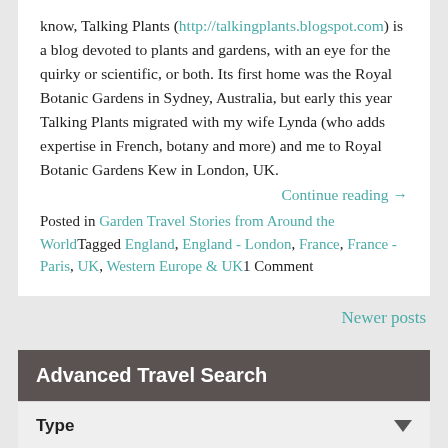know, Talking Plants (http://talkingplants.blogspot.com) is a blog devoted to plants and gardens, with an eye for the quirky or scientific, or both. Its first home was the Royal Botanic Gardens in Sydney, Australia, but early this year Talking Plants migrated with my wife Lynda (who adds expertise in French, botany and more) and me to Royal Botanic Gardens Kew in London, UK.
Continue reading →
Posted in Garden Travel Stories from Around the World Tagged England, England - London, France, France - Paris, UK, Western Europe & UK 1 Comment
Newer posts
Advanced Travel Search
Type
Region